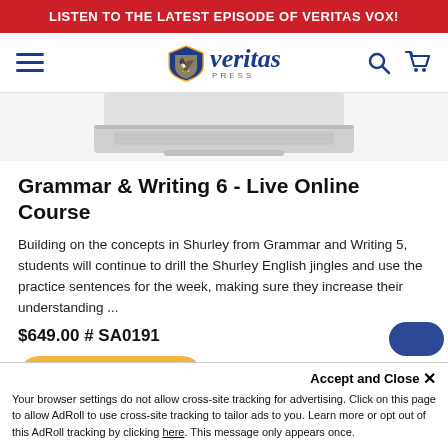LISTEN TO THE LATEST EPISODE OF VERITAS VOX!
[Figure (logo): Veritas Press logo with shield and italic text]
[Figure (photo): Laptop computer image, partially visible at top]
Grammar & Writing 6 - Live Online Course
Building on the concepts in Shurley from Grammar and Writing 5, students will continue to drill the Shurley English jingles and use the practice sentences for the week, making sure they increase their understanding ...
$649.00  # SA0191
Register Now
Accept and Close ×
Your browser settings do not allow cross-site tracking for advertising. Click on this page to allow AdRoll to use cross-site tracking to tailor ads to you. Learn more or opt out of this AdRoll tracking by clicking here. This message only appears once.